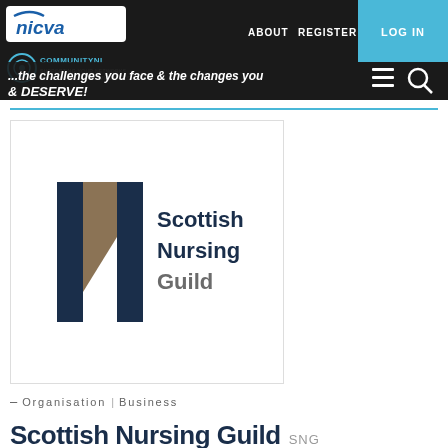[Figure (screenshot): NICVA website header with navigation bar showing NICVA logo, Community NI logo, ABOUT, REGISTER, LOG IN links, hamburger menu and search icon. Dark background with banner text '...the challenges you face & the changes you & DESERVE!']
[Figure (logo): Scottish Nursing Guild logo featuring a stylized N letter mark in dark navy blue with tan/beige accent, and the text 'Scottish Nursing Guild' in dark navy and grey]
– Organisation | Business
Scottish Nursing Guild SNG